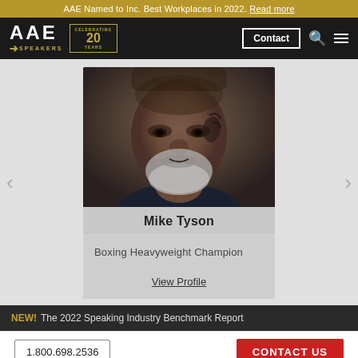AAE Named to Inc. Best Workplaces in 2022. Read more
[Figure (logo): AAE Speakers logo with 20 Years Celebrating badge, Contact button, search icon, and hamburger menu on black navigation bar]
[Figure (photo): Close-up photo of Mike Tyson with facial tattoo and grey beard]
Mike Tyson
Boxing Heavyweight Champion
View Profile
NEW! The 2022 Speaking Industry Benchmark Report
1.800.698.2536  CONTACT US